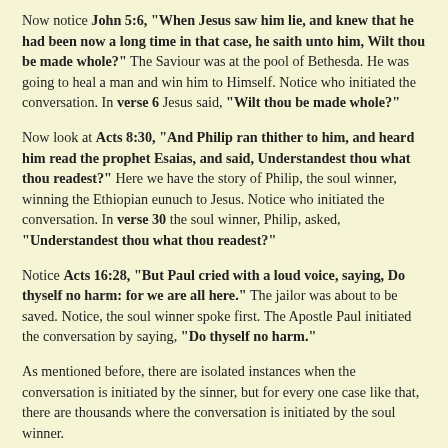Now notice John 5:6, "When Jesus saw him lie, and knew that he had been now a long time in that case, he saith unto him, Wilt thou be made whole?" The Saviour was at the pool of Bethesda. He was going to heal a man and win him to Himself. Notice who initiated the conversation. In verse 6 Jesus said, "Wilt thou be made whole?"
Now look at Acts 8:30, "And Philip ran thither to him, and heard him read the prophet Esaias, and said, Understandest thou what thou readest?" Here we have the story of Philip, the soul winner, winning the Ethiopian eunuch to Jesus. Notice who initiated the conversation. In verse 30 the soul winner, Philip, asked, "Understandest thou what thou readest?"
Notice Acts 16:28, "But Paul cried with a loud voice, saying, Do thyself no harm: for we are all here." The jailor was about to be saved. Notice, the soul winner spoke first. The Apostle Paul initiated the conversation by saying, "Do thyself no harm."
As mentioned before, there are isolated instances when the conversation is initiated by the sinner, but for every one case like that, there are thousands where the conversation is initiated by the soul winner.